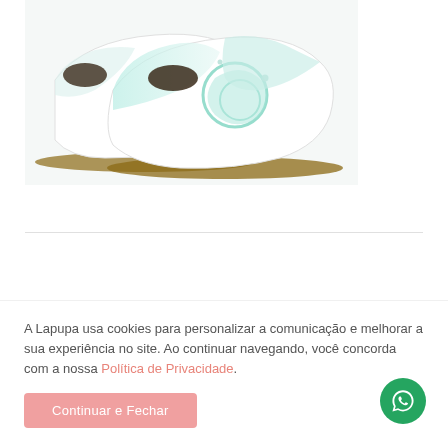[Figure (photo): Two white ballet flat shoes with mint/teal lace floral embroidery decoration on a white background, viewed from the side.]
A Lapupa usa cookies para personalizar a comunicação e melhorar a sua experiência no site. Ao continuar navegando, você concorda com a nossa Política de Privacidade.
Continuar e Fechar